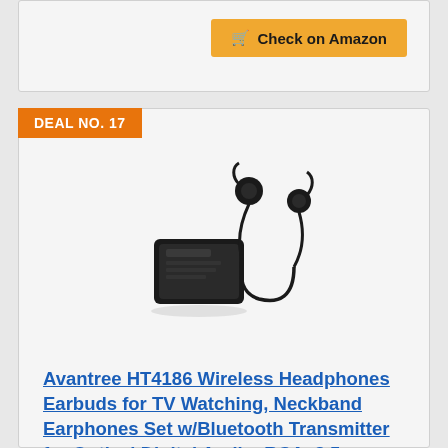Check on Amazon
DEAL NO. 17
[Figure (photo): Product photo of Avantree HT4186 wireless neckband earbuds with Bluetooth transmitter base unit]
Avantree HT4186 Wireless Headphones Earbuds for TV Watching, Neckband Earphones Set w/Bluetooth Transmitter for Optical Digital Audio, RCA, 3.5mm Aux Ported TVs, Plug & Play, No Audio Delay